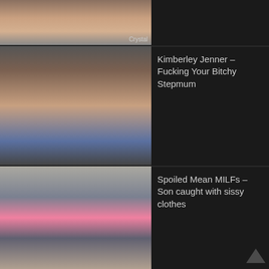[Figure (photo): Partial thumbnail of a woman near laundry machines, labeled Crystal at bottom right]
[Figure (photo): Thumbnail image for video titled Kimberley Jenner - Fucking Your Bitchy Stepmum]
Kimberley Jenner – Fucking Your Bitchy Stepmum
[Figure (photo): Thumbnail image for video titled Spoiled Mean MILFs – Son caught with sissy clothes]
Spoiled Mean MILFs – Son caught with sissy clothes